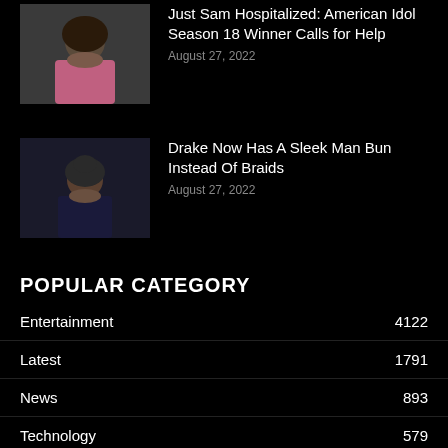[Figure (photo): Photo of Just Sam, American Idol Season 18 winner, holding a microphone, wearing a sparkly top, dark curly hair]
Just Sam Hospitalized: American Idol Season 18 Winner Calls for Help
August 27, 2022
[Figure (photo): Photo of Drake looking down, wearing dark clothing, man bun hairstyle visible]
Drake Now Has A Sleek Man Bun Instead Of Braids
August 27, 2022
POPULAR CATEGORY
Entertainment 4122
Latest 1791
News 893
Technology 579
Lifestyle 407
Gaming 300